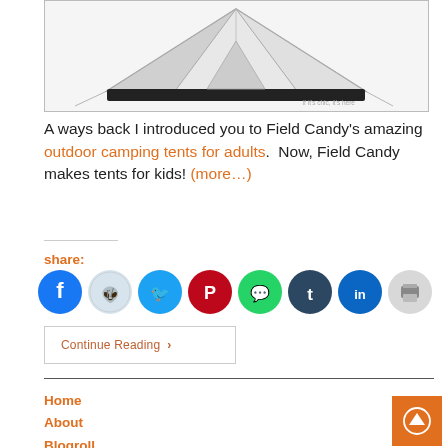[Figure (photo): Illustration of a white camping tent with black base, shown from side angle. Small text in bottom right reads 'if it's chic, it's here'.]
A ways back I introduced you to Field Candy's amazing outdoor camping tents for adults.  Now, Field Candy makes tents for kids! (more…)
share:
[Figure (infographic): Row of social media sharing icon circles: Facebook (blue), Reddit (light blue-gray), Twitter (teal/cyan), Pinterest (dark red), WhatsApp (green), Tumblr (dark navy), LinkedIn (blue), Print (light gray)]
Continue Reading ›
Home
About
Blogroll
Privacy & Policies